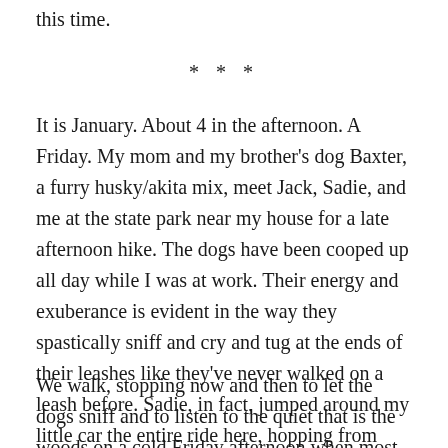this time.
* * *
It is January. About 4 in the afternoon. A Friday. My mom and my brother's dog Baxter, a furry husky/akita mix, meet Jack, Sadie, and me at the state park near my house for a late afternoon hike. The dogs have been cooped up all day while I was at work. Their energy and exuberance is evident in the way they spastically sniff and cry and tug at the ends of their leashes like they've never walked on a leash before. Sadie, in fact, jumped around my little car the entire ride here, hopping from window to window, seat to seat, front to back.
We walk, stopping now and then to let the dogs sniff and to listen to the quiet that is the woods on a cold Friday afternoon when most everyone is either still at